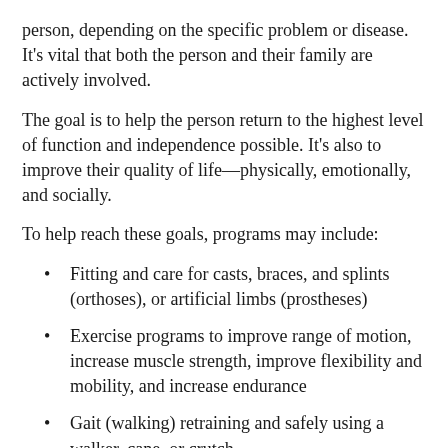person, depending on the specific problem or disease. It's vital that both the person and their family are actively involved.
The goal is to help the person return to the highest level of function and independence possible. It's also to improve their quality of life—physically, emotionally, and socially.
To help reach these goals, programs may include:
Fitting and care for casts, braces, and splints (orthoses), or artificial limbs (prostheses)
Exercise programs to improve range of motion, increase muscle strength, improve flexibility and mobility, and increase endurance
Gait (walking) retraining and safely using a walker, cane, or crutch
Help with buying assistive devices that promote